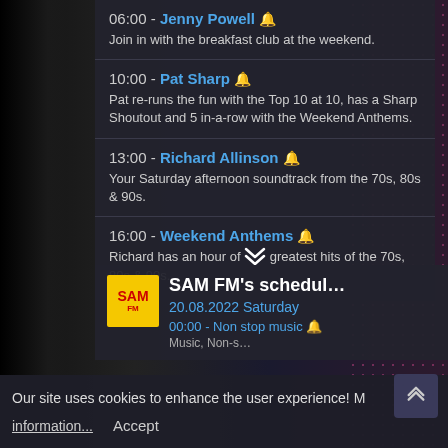06:00 - Jenny Powell 🔔
Join in with the breakfast club at the weekend.
10:00 - Pat Sharp 🔔
Pat re-runs the fun with the Top 10 at 10, has a Sharp Shoutout and 5 in-a-row with the Weekend Anthems.
13:00 - Richard Allinson 🔔
Your Saturday afternoon soundtrack from the 70s, 80s & 90s.
16:00 - Weekend Anthems 🔔
Richard has an hour of greatest hits of the 70s, 80s & 90s.
[Figure (screenshot): SAM FM schedule card showing logo, title SAM FM's schedul..., date 20.08.2022 Saturday, and 00:00 Non stop music listing]
Our site uses cookies to enhance the user experience! M
information...
Accept